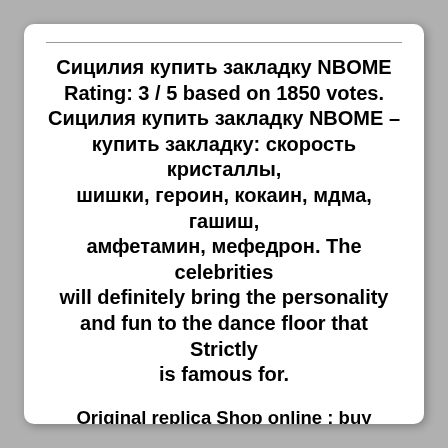Сицилия купить закладку NBOME Rating: 3 / 5 based on 1850 votes. Сицилия купить закладку NBOME – купить закладку: скорость кристаллы, шишки, героин, кокаин, мдма, гашиш, амфетамин, мефедрон. The celebrities will definitely bring the personality and fun to the dance floor that Strictly is famous for.
Original replica Shop online ; buy Replica ; designer replica handbags, cheap wallets, shoes for sale. He said: